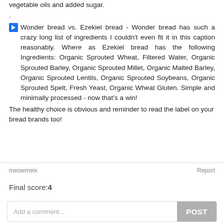vegetable oils and added sugar.
.
Wonder bread vs. Ezekiel bread - Wonder bread has such a crazy long list of ingredients I couldn't even fit it in this caption reasonably. Where as Ezekiel bread has the following Ingredients: Organic Sprouted Wheat, Filtered Water, Organic Sprouted Barley, Organic Sprouted Millet, Organic Malted Barley, Organic Sprouted Lentils, Organic Sprouted Soybeans, Organic Sprouted Spelt, Fresh Yeast, Organic Wheat Gluten. Simple and minimally processed - now that's a win!
The healthy choice is obvious and reminder to read the label on your bread brands too!
meowmeix
Report
Final score:4
Add a comment...
POST